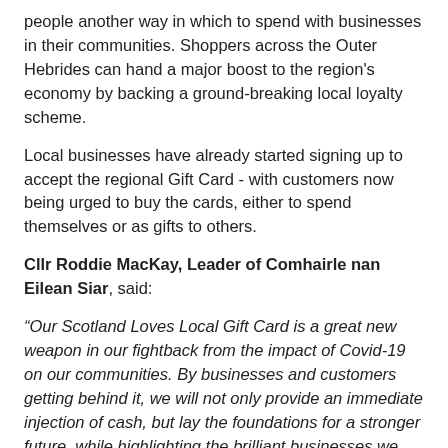people another way in which to spend with businesses in their communities. Shoppers across the Outer Hebrides can hand a major boost to the region's economy by backing a ground-breaking local loyalty scheme.
Local businesses have already started signing up to accept the regional Gift Card - with customers now being urged to buy the cards, either to spend themselves or as gifts to others.
Cllr Roddie MacKay, Leader of Comhairle nan Eilean Siar, said:
“Our Scotland Loves Local Gift Card is a great new weapon in our fightback from the impact of Covid-19 on our communities. By businesses and customers getting behind it, we will not only provide an immediate injection of cash, but lay the foundations for a stronger future, while highlighting the brilliant businesses we have across the Outer Hebrides.”
Announcing the national consumer launch in the Scottish Parliament, Community Wealth Minister Tom Arthur said they would help build inclusive and sustainable local economies. He said:
“This Scotland Loves Local Gift Card scheme will help support all our communities as they recover from the pandemic. They